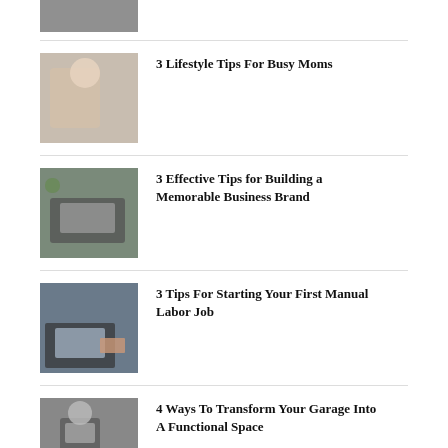[Figure (photo): Partial cropped photo at top of page]
3 Lifestyle Tips For Busy Moms
[Figure (photo): Woman holding a baby while working on a laptop]
3 Effective Tips for Building a Memorable Business Brand
[Figure (photo): Overhead view of a laptop on a desk with hands typing]
3 Tips For Starting Your First Manual Labor Job
[Figure (photo): Person using a tablet at a desk]
4 Ways To Transform Your Garage Into A Functional Space
[Figure (photo): Person lifting weights in a garage]